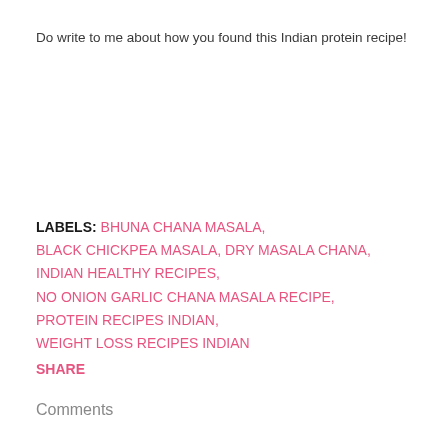Do write to me about how you found this Indian protein recipe!
LABELS: BHUNA CHANA MASALA, BLACK CHICKPEA MASALA, DRY MASALA CHANA, INDIAN HEALTHY RECIPES, NO ONION GARLIC CHANA MASALA RECIPE, PROTEIN RECIPES INDIAN, WEIGHT LOSS RECIPES INDIAN
SHARE
Comments